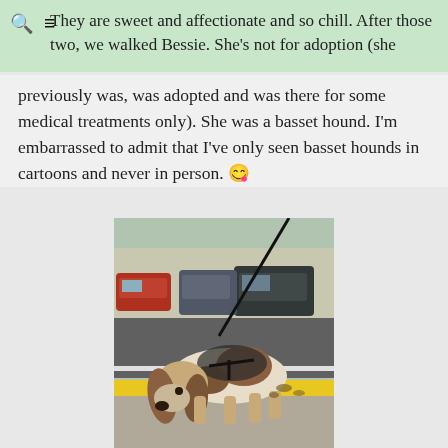They are sweet and affectionate and so chill. After those two, we walked Bessie. She’s not for adoption (she
previously was, was adopted and was there for some medical treatments only). She was a basset hound. I’m embarrassed to admit that I’ve only seen basset hounds in cartoons and never in person. 😉
[Figure (photo): A basset hound dog on a leash sniffing along a yellow painted curb in a parking lot. Cars are visible in the background. The dog has brown and white coloring with droopy ears.]